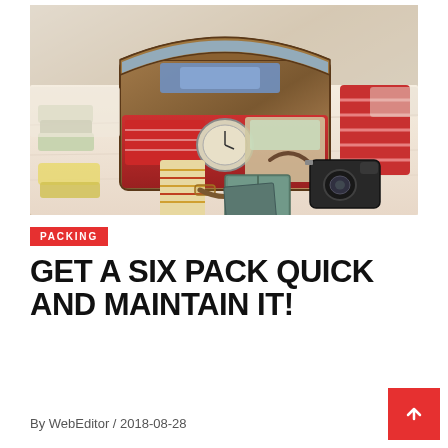[Figure (photo): Open vintage suitcase packed with clothes, a watch, and items on a bed. Camera, books, and folded garments are spread around on white bedding.]
PACKING
GET A SIX PACK QUICK AND MAINTAIN IT!
By WebEditor / 2018-08-28